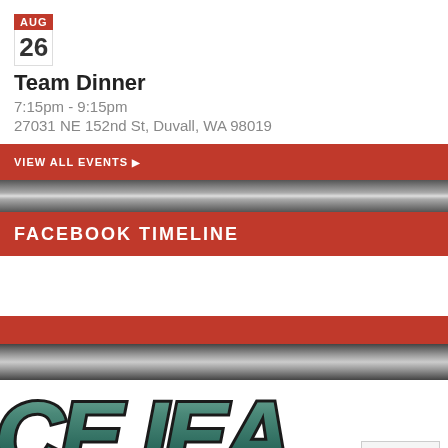AUG 26
Team Dinner
7:15pm - 9:15pm
27031 NE 152nd St, Duvall, WA 98019
VIEW ALL EVENTS
FACEBOOK TIMELINE
[Figure (logo): CE IEA logo text in italic metallic green style with dark outlines, partially cropped]
Close ×